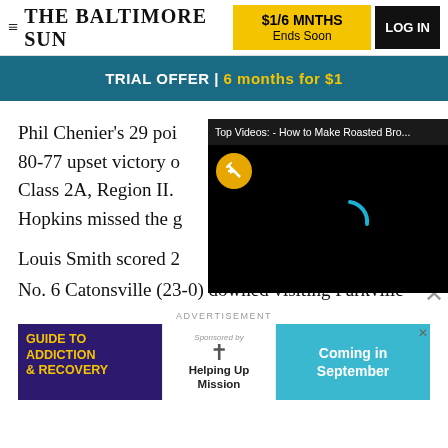THE BALTIMORE SUN | $1/6 MNTHS Ends Soon | LOG IN
[Figure (screenshot): Trial offer banner: TRIAL OFFER | 6 months for $1 on teal background]
Phil Chenier's 29 poi... 80-77 upset victory o... Class 2A, Region II. Hopkins missed the g...
[Figure (screenshot): Video overlay: Top Videos: - How to Make Roasted Bro... with mute button and loading spinner on black background]
Louis Smith scored 2...
No. 6 Catonsville (23-0) downed visiting Parkville
ADVERTISEMENT
[Figure (screenshot): Ad banner: GUIDE TO ADDICTION & RECOVERY | Sponsored by Helping Up Mission | Coming in September]